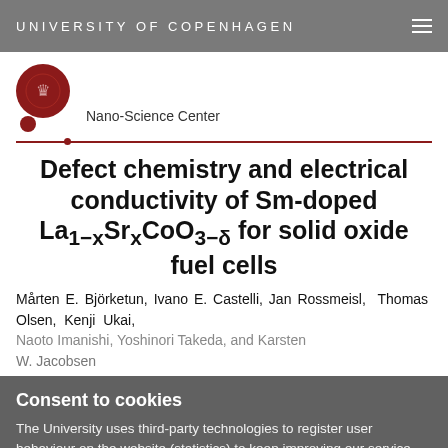UNIVERSITY OF COPENHAGEN
[Figure (logo): University of Copenhagen seal/logo in dark red circle with smaller red dot below]
Nano-Science Center
Defect chemistry and electrical conductivity of Sm-doped La1−xSrxCoO3−δ for solid oxide fuel cells
Mårten E. Björketun, Ivano E. Castelli, Jan Rossmeisl, Thomas Olsen, Kenji Ukai, Naoto Imanishi, Yoshinori Takeda, and Karsten W. Jacobsen
Consent to cookies
The University uses third-party technologies to register user behaviour on the website (statistics) to keep improving our service. The University also uses third-party technologies to promote degree